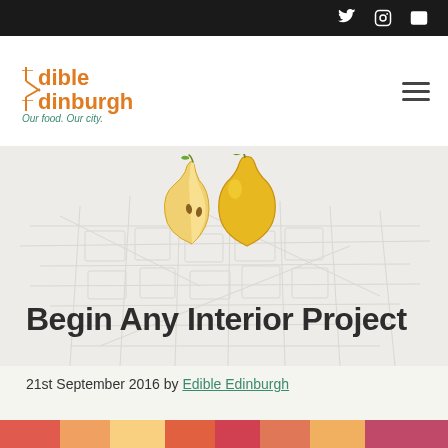Social icons: Twitter, Instagram, Email
[Figure (logo): Edible Edinburgh logo with fork icons, orange text, subtitle 'Our food. Our city.' in teal]
[Figure (illustration): Two illustrated pears (one halved, one whole) in yellow/green over a faint city map watermark background]
Begin Any Interior Project
21st September 2016 by Edible Edinburgh
[Figure (photo): Colorful food photo strip at bottom of page, partially visible]